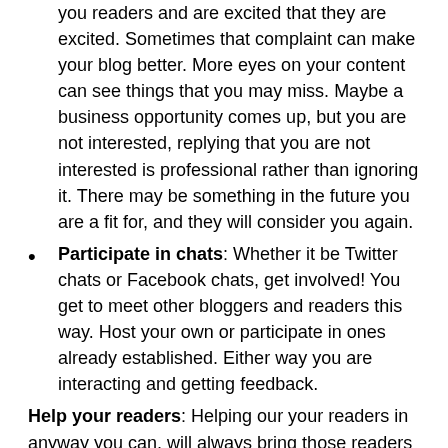you readers and are excited that they are excited. Sometimes that complaint can make your blog better. More eyes on your content can see things that you may miss. Maybe a business opportunity comes up, but you are not interested, replying that you are not interested is professional rather than ignoring it. There may be something in the future you are a fit for, and they will consider you again.
Participate in chats: Whether it be Twitter chats or Facebook chats, get involved! You get to meet other bloggers and readers this way. Host your own or participate in ones already established. Either way you are interacting and getting feedback.
Help your readers: Helping our your readers in anyway you can, will always bring those readers back. Positive actions bring positive feedback:
Bloggers: If your reader is also a blogger, visit their